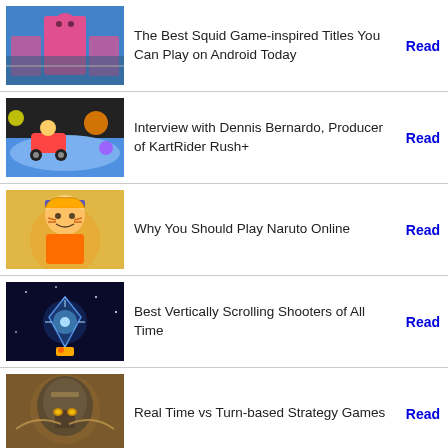The Best Squid Game-inspired Titles You Can Play on Android Today
Interview with Dennis Bernardo, Producer of KartRider Rush+
Why You Should Play Naruto Online
Best Vertically Scrolling Shooters of All Time
Real Time vs Turn-based Strategy Games
Top 5 Free Browser Based MMOFPS Games
The Appeal of Slots Games: Why Are They So Popular?